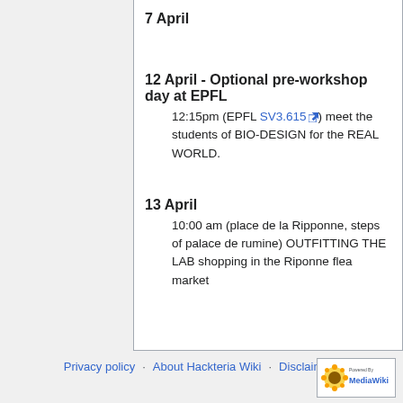7 April
12 April - Optional pre-workshop day at EPFL
12:15pm (EPFL SV3.615 [external link]) meet the students of BIO-DESIGN for the REAL WORLD.
13 April
10:00 am (place de la Ripponne, steps of palace de rumine) OUTFITTING THE LAB shopping in the Riponne flea market
Privacy policy · About Hackteria Wiki · Disclaimers